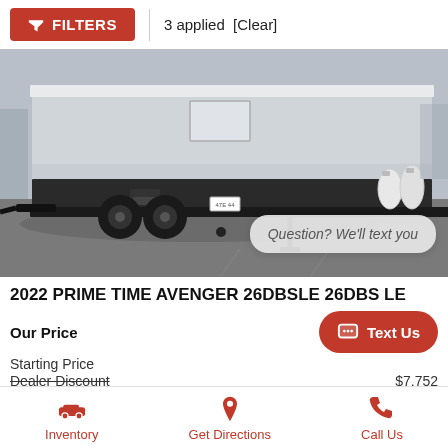FILTERS | 3 applied [Clear]
[Figure (photo): Photo of a 2022 Prime Time Avenger 26DBSLE travel trailer/RV parked outdoors, showing the rear and side of the white and black unit with propane tanks visible on the right side. A chat overlay reads 'Question? We'll text you'.]
2022 PRIME TIME AVENGER 26DBSLE 26DBS LE
Our Price
Starting Price
Dealer Discount  $7,752
Inventory  Get Directions  Call Us